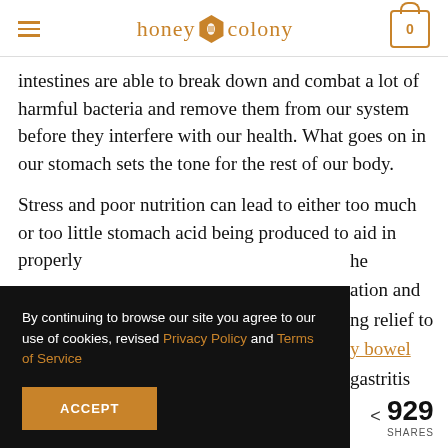honey colony [logo with bee icon] [hamburger menu] [cart 0]
intestines are able to break down and combat a lot of harmful bacteria and remove them from our system before they interfere with our health. What goes on in our stomach sets the tone for the rest of our body.
Stress and poor nutrition can lead to either too much or too little stomach acid being produced to aid in properly [partially obscured] The [partially obscured]ation and [partially obscured]ng relief to [partially obscured]y bowel [partially obscured]gastritis
By continuing to browse our site you agree to our use of cookies, revised Privacy Policy and Terms of Service
ACCEPT
929 SHARES